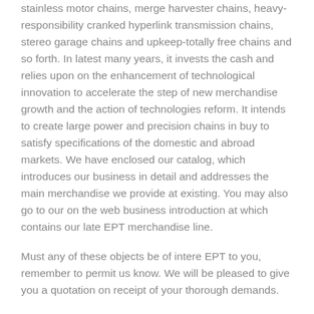stainless motor chains, merge harvester chains, heavy-responsibility cranked hyperlink transmission chains, stereo garage chains and upkeep-totally free chains and so forth. In latest many years, it invests the cash and relies upon on the enhancement of technological innovation to accelerate the step of new merchandise growth and the action of technologies reform. It intends to create large power and precision chains in buy to satisfy specifications of the domestic and abroad markets. We have enclosed our catalog, which introduces our business in detail and addresses the main merchandise we provide at existing. You may also go to our on the web business introduction at which contains our late EPT merchandise line.
Must any of these objects be of intere EPT to you, remember to permit us know. We will be pleased to give you a quotation on receipt of your thorough demands.